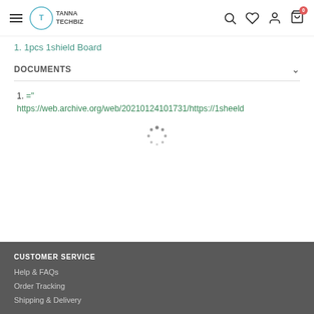TannaTechBiz navigation header with hamburger menu, logo, search, wishlist, account, and cart icons
1. 1pcs 1shield Board
DOCUMENTS
1. =" https://web.archive.org/web/20210124101731/https://1sheeld...
CUSTOMER SERVICE
Help & FAQs
Order Tracking
Shipping & Delivery